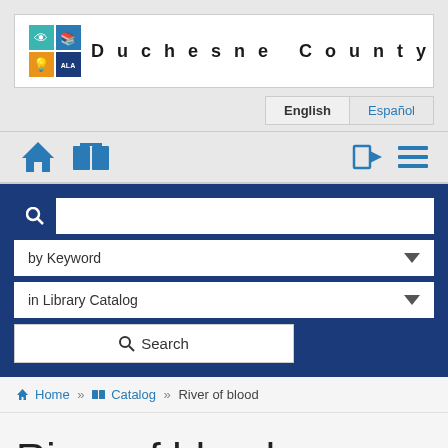[Figure (logo): Duchesne County Library System logo with colorful grid icon and spaced text]
[Figure (screenshot): Language selector buttons: English (active) and Español]
[Figure (screenshot): Navigation icon bar with home, book, login, and menu icons]
[Figure (screenshot): Search interface: text input, by Keyword dropdown, in Library Catalog dropdown, and Search button]
Home » Catalog » River of blood
River of blood